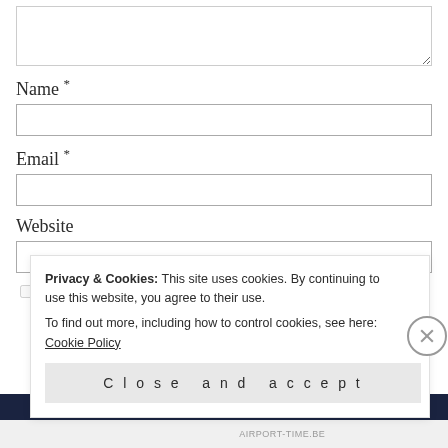[Figure (screenshot): Textarea input box (top portion of form, partially visible at top of page)]
Name *
[Figure (screenshot): Text input field for Name]
Email *
[Figure (screenshot): Text input field for Email]
Website
[Figure (screenshot): Text input field for Website]
Save my name, email, and website in this...
Privacy & Cookies: This site uses cookies. By continuing to use this website, you agree to their use.
To find out more, including how to control cookies, see here: Cookie Policy
Close and accept